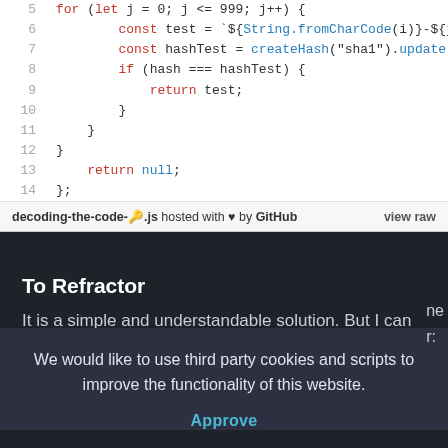[Figure (screenshot): GitHub Gist code snippet showing JavaScript lines 5-14 with syntax highlighting. Lines show a nested for loop with hash comparison logic returning test or null.]
To Refractor
It is a simple and understandable solution. But I can do
We would like to use third party cookies and scripts to improve the functionality of this website.
Approve